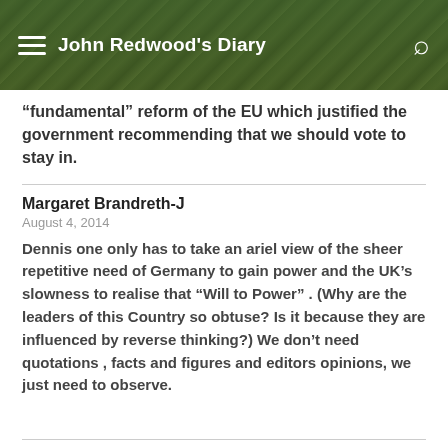John Redwood's Diary
“fundamental” reform of the EU which justified the government recommending that we should vote to stay in.
Margaret Brandreth-J
August 4, 2014
Dennis one only has to take an ariel view of the sheer repetitive need of Germany to gain power and the UK’s slowness to realise that “Will to Power” . (Why are the leaders of this Country so obtuse? Is it because they are influenced by reverse thinking?) We don’t need quotations , facts and figures and editors opinions, we just need to observe.